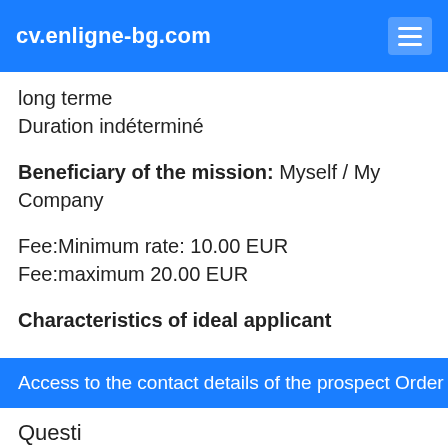cv.enligne-bg.com
long terme
Duration indéterminé
Beneficiary of the mission: Myself / My Company
Fee:Minimum rate: 10.00 EUR
Fee:maximum 20.00 EUR
Characteristics of ideal applicant
Geographical location of the assignment:7100 Ruse bg
Access to the contact details of the prospect Order this assi
Questi